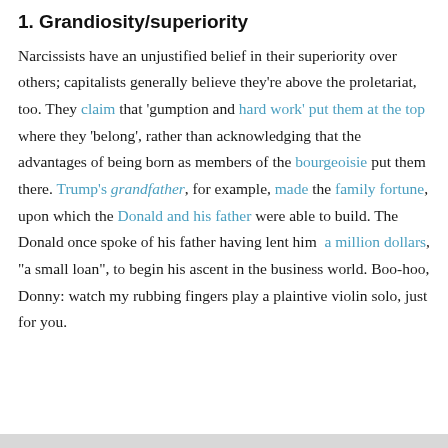1. Grandiosity/superiority
Narcissists have an unjustified belief in their superiority over others; capitalists generally believe they're above the proletariat, too. They claim that 'gumption and hard work' put them at the top where they 'belong', rather than acknowledging that the advantages of being born as members of the bourgeoisie put them there. Trump's grandfather, for example, made the family fortune, upon which the Donald and his father were able to build. The Donald once spoke of his father having lent him a million dollars, "a small loan", to begin his ascent in the business world. Boo-hoo, Donny: watch my rubbing fingers play a plaintive violin solo, just for you.